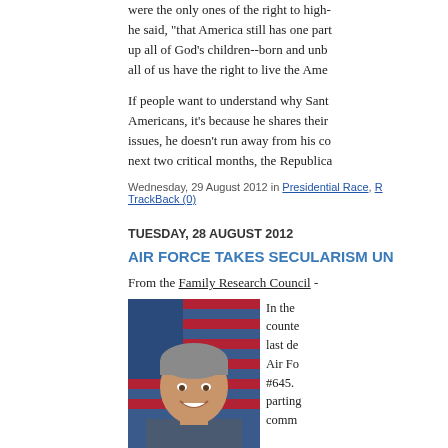were the only ones of the right to high- he said, "that America still has one part up all of God's children--born and unbo all of us have the right to live the Ame
If people want to understand why Santo Americans, it's because he shares their issues, he doesn't run away from his co next two critical months, the Republica
Wednesday, 29 August 2012 in Presidential Race, R TrackBack (0)
TUESDAY, 28 AUGUST 2012
AIR FORCE TAKES SECULARISM UN
From the Family Research Council -
[Figure (photo): Official portrait of a smiling man with grey hair in military uniform, with American flag in background]
In the counte last de Air Fo #645. parting comm